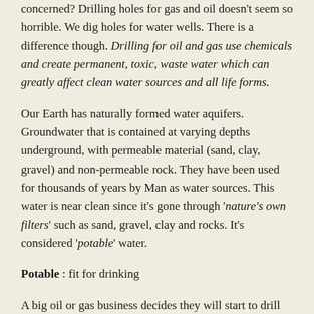concerned? Drilling holes for gas and oil doesn't seem so horrible. We dig holes for water wells. There is a difference though. Drilling for oil and gas use chemicals and create permanent, toxic, waste water which can greatly affect clean water sources and all life forms.
Our Earth has naturally formed water aquifers. Groundwater that is contained at varying depths underground, with permeable material (sand, clay, gravel) and non-permeable rock. They have been used for thousands of years by Man as water sources. This water is near clean since it's gone through 'nature's own filters' such as sand, gravel, clay and rocks. It's considered 'potable' water.
Potable : fit for drinking
A big oil or gas business decides they will start to drill using 'hydraulic fracturing', with government approval. A part of